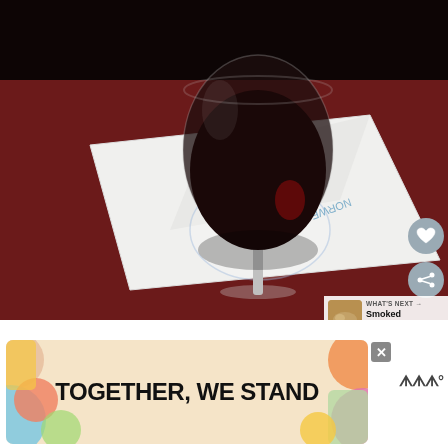[Figure (photo): A glass of red wine sitting on a white cocktail napkin with a Norwegian Cruise Line logo (NCL), on a dark red table surface. The napkin shows the NCL logo with text 'NORWEGIAN' visible, mirrored/upside-down due to perspective.]
[Figure (photo): Thumbnail image of smoked salmon dish, shown in 'What's Next' recommendation panel in the bottom right of the main photo.]
WHAT'S NEXT → Smoked Salmon +...
[Figure (infographic): Advertisement banner with colorful abstract shapes on left and right sides, beige/cream background, bold black text reading 'TOGETHER, WE STAND'. An X close button appears on the top right corner of the ad. A brand logo/text appears to the right of the ad banner.]